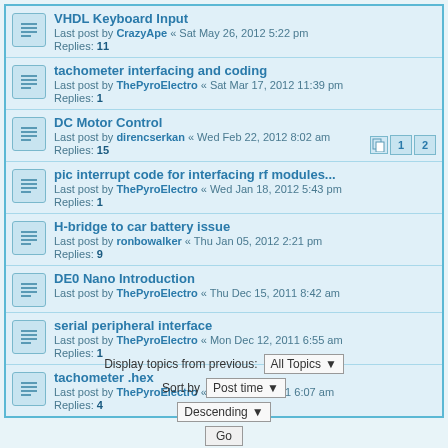VHDL Keyboard Input
Last post by CrazyApe « Sat May 26, 2012 5:22 pm
Replies: 11
tachometer interfacing and coding
Last post by ThePyroElectro « Sat Mar 17, 2012 11:39 pm
Replies: 1
DC Motor Control
Last post by direncserkan « Wed Feb 22, 2012 8:02 am
Replies: 15
pic interrupt code for interfacing rf modules...
Last post by ThePyroElectro « Wed Jan 18, 2012 5:43 pm
Replies: 1
H-bridge to car battery issue
Last post by ronbowalker « Thu Jan 05, 2012 2:21 pm
Replies: 9
DE0 Nano Introduction
Last post by ThePyroElectro « Thu Dec 15, 2011 8:42 am
serial peripheral interface
Last post by ThePyroElectro « Mon Dec 12, 2011 6:55 am
Replies: 1
tachometer .hex
Last post by ThePyroElectro « Fri Nov 25, 2011 6:07 am
Replies: 4
Display topics from previous: All Topics ▼
Sort by Post time ▼
Descending ▼
Go